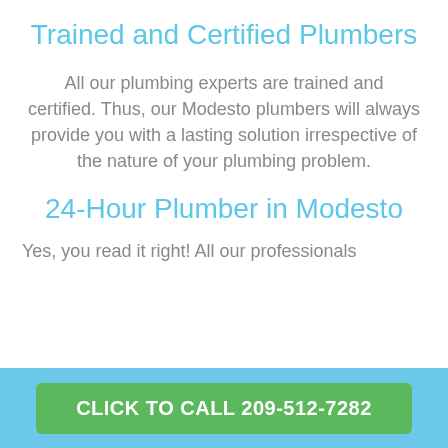Trained and Certified Plumbers
All our plumbing experts are trained and certified. Thus, our Modesto plumbers will always provide you with a lasting solution irrespective of the nature of your plumbing problem.
24-Hour Plumber in Modesto
Yes, you read it right! All our professionals
CLICK TO CALL 209-512-7282